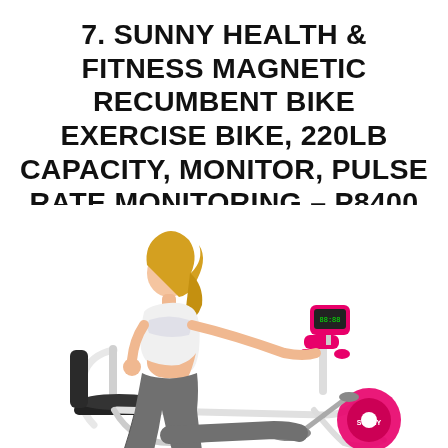7. SUNNY HEALTH & FITNESS MAGNETIC RECUMBENT BIKE EXERCISE BIKE, 220LB CAPACITY, MONITOR, PULSE RATE MONITORING – P8400
[Figure (photo): A woman with blonde hair wearing a white sports top and gray leggings sitting on a pink and white Sunny Health & Fitness magnetic recumbent exercise bike, posing sideways against a white background.]